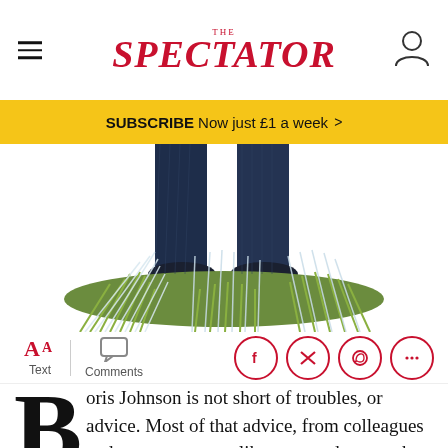THE SPECTATOR
SUBSCRIBE Now just £1 a week >
[Figure (illustration): Illustration showing legs/feet standing on a bed of grass or brushes, with dark trousers visible from below the knees]
Text  Comments
Boris Johnson is not short of troubles, or advice. Most of that advice, from colleagues and commentators alike, comes down to the same thing: he's got to change. Change his team, change his approach. Change the way he does things.